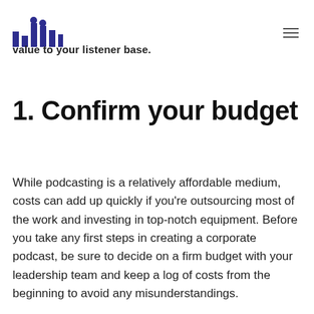[logo] [menu icon]
value to your listener base.
1. Confirm your budget
While podcasting is a relatively affordable medium, costs can add up quickly if you’re outsourcing most of the work and investing in top-notch equipment. Before you take any first steps in creating a corporate podcast, be sure to decide on a firm budget with your leadership team and keep a log of costs from the beginning to avoid any misunderstandings.